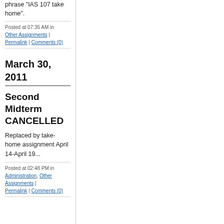phrase "IAS 107 take home".
Posted at 07:35 AM in Other Assignments | Permalink | Comments (0)
March 30, 2011
Second Midterm CANCELLED
Replaced by take-home assignment April 14-April 19...
Posted at 02:48 PM in Administration, Other Assignments | Permalink | Comments (0)